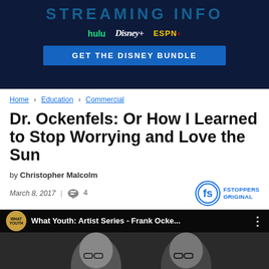[Figure (screenshot): Disney Bundle streaming advertisement banner showing Hulu, Disney+, and ESPN+ logos with a dark blue background and 'GET THE DISNEY BUNDLE' blue button]
Home > Education > Commercial
Dr. Ockenfels: Or How I Learned to Stop Worrying and Love the Sun
by Christopher Malcolm
March 8, 2017 | 4
[Figure (screenshot): Video thumbnail showing two men in black and white photo with What Youth logo and title 'What Youth: Artist Series - Frank Ocke...' with Fstoppers Original badge]